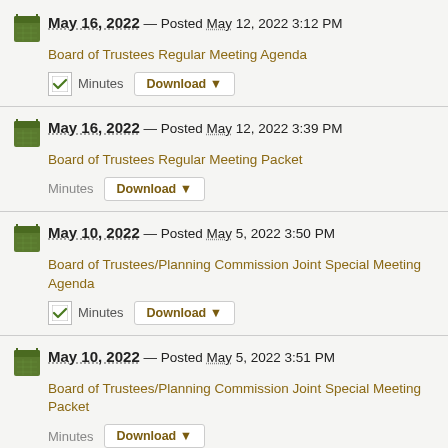May 16, 2022 — Posted May 12, 2022 3:12 PM
Board of Trustees Regular Meeting Agenda
Minutes Download
May 16, 2022 — Posted May 12, 2022 3:39 PM
Board of Trustees Regular Meeting Packet
Minutes Download
May 10, 2022 — Posted May 5, 2022 3:50 PM
Board of Trustees/Planning Commission Joint Special Meeting Agenda
Minutes Download
May 10, 2022 — Posted May 5, 2022 3:51 PM
Board of Trustees/Planning Commission Joint Special Meeting Packet
Minutes Download